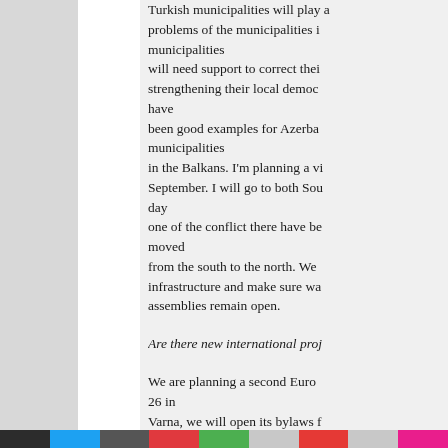Turkish municipalities will play a problems of the municipalities in municipalities will need support to correct their strengthening their local democ have been good examples for Azerba municipalities in the Balkans. I'm planning a vi September. I will go to both Sou day one of the conflict there have be moved from the south to the north. We infrastructure and make sure wa assemblies remain open.
Are there new international proj
We are planning a second Euro 26 in Varna, we will open its bylaws f preparatory meeting in [the Turk
Where is the first Euroregion?
We launched it in the Adriatic in Euroregions cover both membe regions